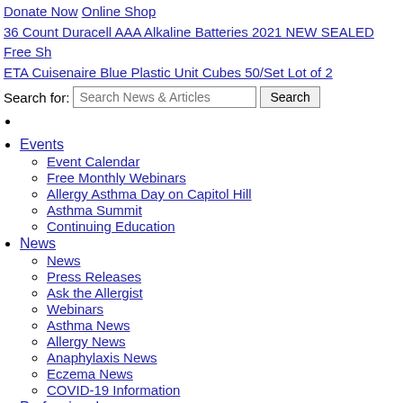Donate Now
Online Shop
36 Count Duracell AAA Alkaline Batteries 2021 NEW SEALED Free Sh
ETA Cuisenaire Blue Plastic Unit Cubes 50/Set Lot of 2
Search for: [Search News & Articles] [Search]
Events
Event Calendar
Free Monthly Webinars
Allergy Asthma Day on Capitol Hill
Asthma Summit
Continuing Education
News
News
Press Releases
Ask the Allergist
Webinars
Asthma News
Allergy News
Anaphylaxis News
Eczema News
COVID-19 Information
Professionals